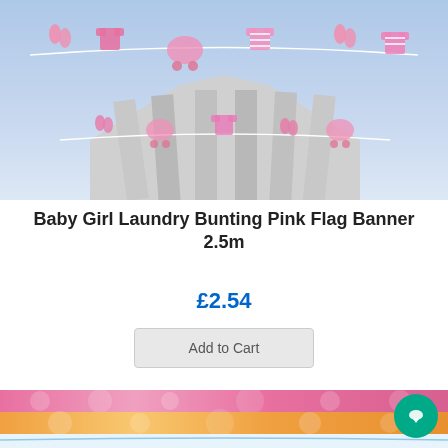[Figure (illustration): Baby Girl Laundry Bunting product image showing pink baby clothes, socks, onesies, and prams hanging on clotheslines against a light blue background with grey striped tent/canopy underneath]
Baby Girl Laundry Bunting Pink Flag Banner 2.5m
£2.54
Add to Cart
[Figure (illustration): Second product image showing colorful pink and orange horizontal ribbon/banner strips at top, with blue clothesline below featuring small baby clothes hanging with pegs]